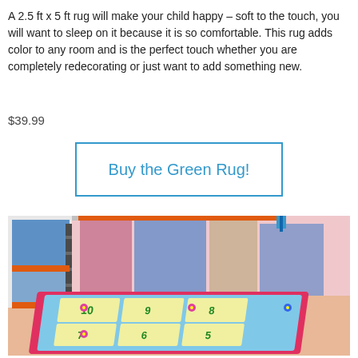A 2.5 ft x 5 ft rug will make your child happy – soft to the touch, you will want to sleep on it because it is so comfortable. This rug adds color to any room and is the perfect touch whether you are completely redecorating or just want to add something new.
$39.99
Buy the Green Rug!
[Figure (photo): A colorful children's hopscotch rug with numbers 5-10 and flower/butterfly designs, shown on the floor of a child's bedroom with a bunk bed in the background.]